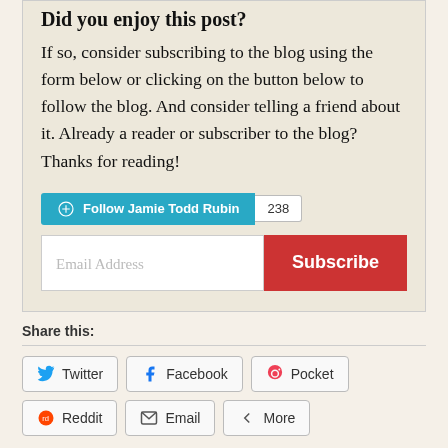Did you enjoy this post?
If so, consider subscribing to the blog using the form below or clicking on the button below to follow the blog. And consider telling a friend about it. Already a reader or subscriber to the blog? Thanks for reading!
[Figure (other): Follow Jamie Todd Rubin button with follower count 238, and an email subscription form with Email Address field and Subscribe button]
Share this:
Twitter
Facebook
Pocket
Reddit
Email
More